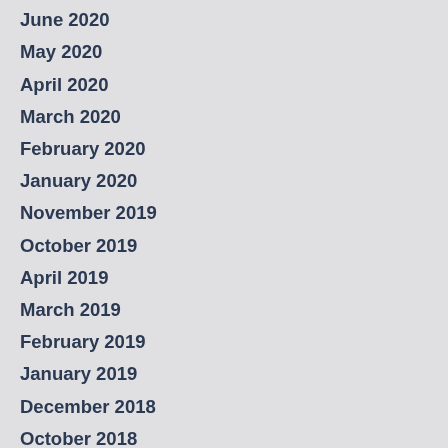June 2020
May 2020
April 2020
March 2020
February 2020
January 2020
November 2019
October 2019
April 2019
March 2019
February 2019
January 2019
December 2018
October 2018
September 2018